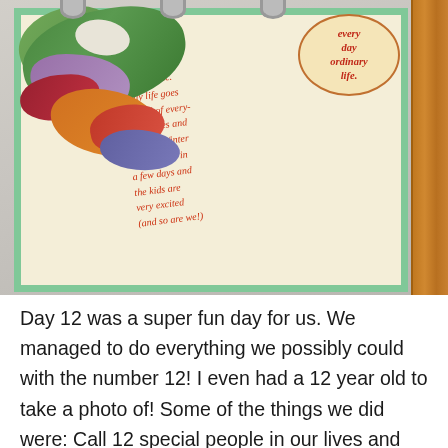[Figure (photo): Photo of a scrapbook page on a wooden clipboard with a green polka-dot border, fabric/clothing items piled on top left, a circular label reading 'Every day Ordinary Life', and handwritten red text about everyday life in December including chores, winter break, and kids being excited.]
Day 12 was a super fun day for us. We managed to do everything we possibly could with the number 12! I even had a 12 year old to take a photo of! Some of the things we did were: Call 12 special people in our lives and talk for 12 minutes ONLY, Baked 12 cupcakes, bought 12 lottery